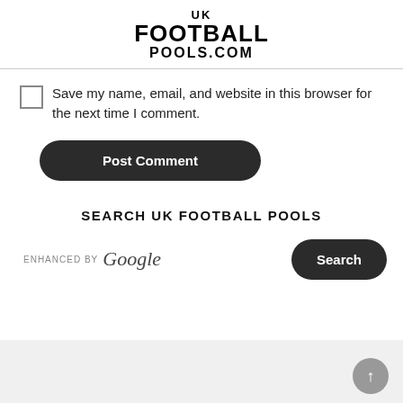UK FOOTBALL POOLS.COM
Save my name, email, and website in this browser for the next time I comment.
Post Comment
SEARCH UK FOOTBALL POOLS
ENHANCED BY Google
Search